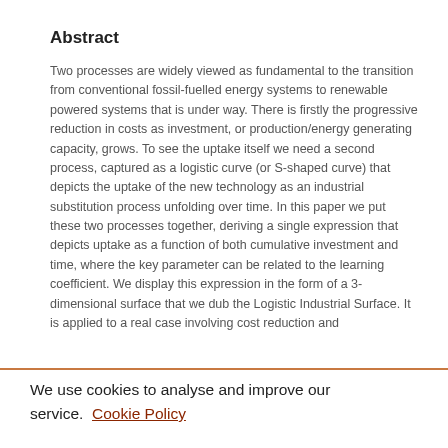Abstract
Two processes are widely viewed as fundamental to the transition from conventional fossil-fuelled energy systems to renewable powered systems that is under way. There is firstly the progressive reduction in costs as investment, or production/energy generating capacity, grows. To see the uptake itself we need a second process, captured as a logistic curve (or S-shaped curve) that depicts the uptake of the new technology as an industrial substitution process unfolding over time. In this paper we put these two processes together, deriving a single expression that depicts uptake as a function of both cumulative investment and time, where the key parameter can be related to the learning coefficient. We display this expression in the form of a 3-dimensional surface that we dub the Logistic Industrial Surface. It is applied to a real case involving cost reduction and
We use cookies to analyse and improve our service. Cookie Policy